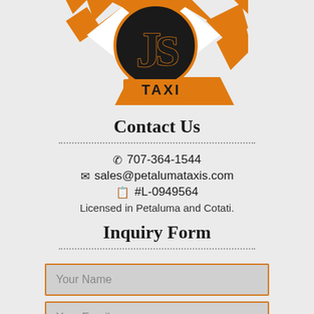[Figure (logo): JS Taxi logo with orange and white checker pattern and large stylized J S letters in black with TAXI text below]
Contact Us
707-364-1544
sales@petalumataxis.com
#L-0949564
Licensed in Petaluma and Cotati.
Inquiry Form
Your Name
Your Email